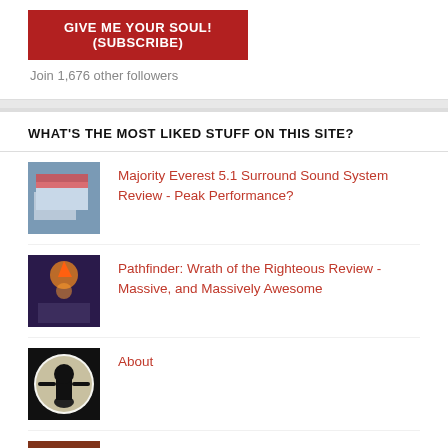[Figure (other): Red subscribe button with text GIVE ME YOUR SOUL! (SUBSCRIBE)]
Join 1,676 other followers
WHAT'S THE MOST LIKED STUFF ON THIS SITE?
Majority Everest 5.1 Surround Sound System Review - Peak Performance?
Pathfinder: Wrath of the Righteous Review - Massive, and Massively Awesome
About
Stray Review - One Of The Best Games Of 2022?
Thrustmaster T248 Racing Wheel Review - Is This The Best Entry-Level Wheel?